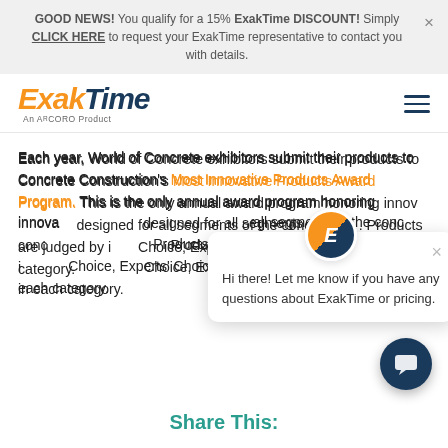GOOD NEWS! You qualify for a 15% ExakTime DISCOUNT! Simply CLICK HERE to request your ExakTime representative to contact you with details.
[Figure (logo): ExakTime logo - orange italic 'Exak' and dark blue italic 'Time' with tagline 'An ARCORO Product']
Each year, World of Concrete exhibitors submit their products to Concrete Construction's Most Innovative Products Award Program. This is the only annual award program honoring innovative new products designed for all segments of the concrete construction industry. Products are judged by industry experts with Editors' Choice, Experts' Choice, and Best of Show awarded in each category.
Hi there! Let me know if you have any questions about ExakTime or pricing.
Share This: